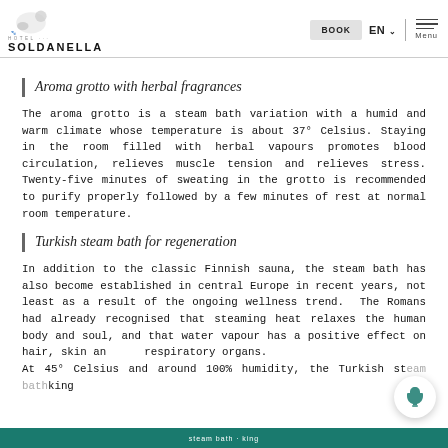Hotel Soldanella — BOOK | EN | Menu
Aroma grotto with herbal fragrances
The aroma grotto is a steam bath variation with a humid and warm climate whose temperature is about 37° Celsius. Staying in the room filled with herbal vapours promotes blood circulation, relieves muscle tension and relieves stress. Twenty-five minutes of sweating in the grotto is recommended to purify properly followed by a few minutes of rest at normal room temperature.
Turkish steam bath for regeneration
In addition to the classic Finnish sauna, the steam bath has also become established in central Europe in recent years, not least as a result of the ongoing wellness trend.  The Romans had already recognised that steaming heat relaxes the human body and soul, and that water vapour has a positive effect on hair, skin and respiratory organs. At 45° Celsius and around 100% humidity, the Turkish steam bath